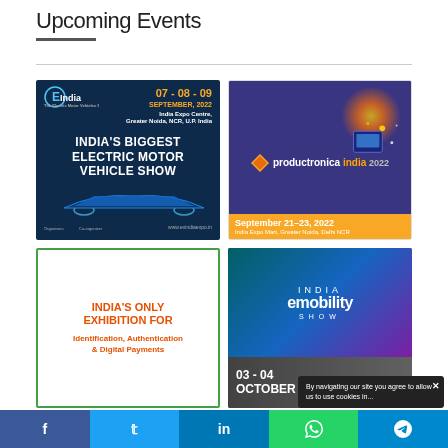Upcoming Events
[Figure (illustration): EV India - India's Biggest Electric Motor Vehicle Show, 07-08-09 September 2022, India Expo Centre, Greater Noida, NCR, U.P. India]
[Figure (illustration): productronica India 2022, September 21-23, 2022, India Expo Mart, Greater Noida, Delhi NCR]
[Figure (illustration): India's Only Exhibition for Identification, Authentication & Digital Payments]
[Figure (illustration): India eMobility Show, 03-04 October]
By navigating our site you agree to allow us to use cookies in...
f  t  in  WhatsApp  Telegram